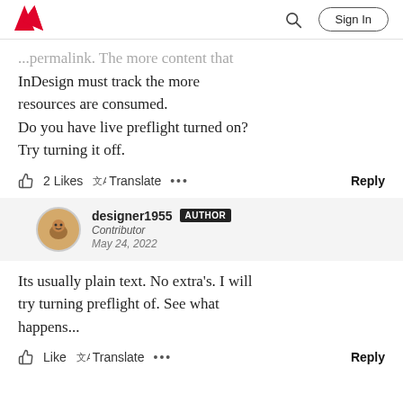Adobe | Sign In
...permalink. The more content that InDesign must track the more resources are consumed. Do you have live preflight turned on? Try turning it off.
2 Likes  Translate  ...  Reply
designer1955  AUTHOR
Contributor
May 24, 2022
Its usually plain text. No extra's. I will try turning preflight of. See what happens...
Like  Translate  ...  Reply